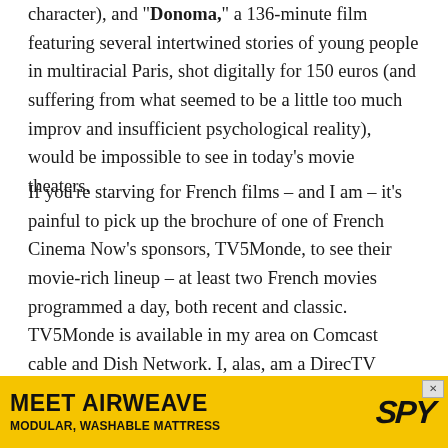character), and "Donoma," a 136-minute film featuring several intertwined stories of young people in multiracial Paris, shot digitally for 150 euros (and suffering from what seemed to be a little too much improv and insufficient psychological reality), would be impossible to see in today's movie theaters.
If you're starving for French films – and I am – it's painful to pick up the brochure of one of French Cinema Now's sponsors, TV5Monde, to see their movie-rich lineup – at least two French movies programmed a day, both recent and classic. TV5Monde is available in my area on Comcast cable and Dish Network. I, alas, am a DirecTV subscriber, who was recently heartened by its addition of a channel called Cinemoi, which Wikipedia describes as "a pay-TV digital channel screening French films," as it appears to in
[Figure (infographic): Advertisement banner for Airweave Modular Washable Mattress with SPY logo on yellow background]